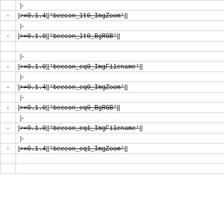| |- |
| - | |<code>>=0.1.4</code>||<code>'beecon_lt0_ImgZoom'</code>||<... |
| |- |
| - | |<code>>=0.1.0</code>||<code>'beecon_lt0_BgRGB'</code>||<co... |
| |- |
| - | |<code>>=0.1.0</code>||<code>'beecon_eq0_ImgFilename'</code>... |
| |- |
| - | |<code>>=0.1.4</code>||<code>'beecon_eq0_ImgZoom'</code>||<... |
| |- |
| - | |<code>>=0.1.0</code>||<code>'beecon_eq0_BgRGB'</code>||<c... |
| |- |
| - | |<code>>=0.1.0</code>||<code>'beecon_eq1_ImgFilename'</code>... |
| |- |
| - | |<code>>=0.1.4</code>||<code>'beecon_eq1_ImgZoom'</code>||<... |
|  |
|  |